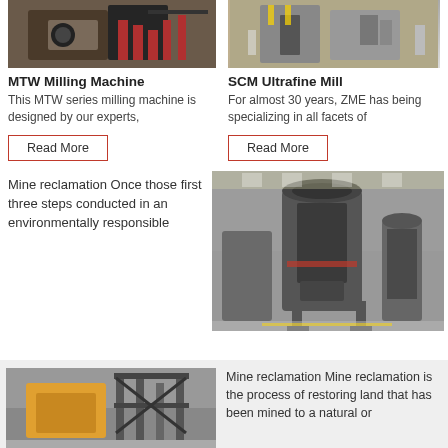[Figure (photo): MTW Milling Machine in factory with red stairs]
[Figure (photo): SCM Ultrafine Mill in industrial facility]
MTW Milling Machine
This MTW series milling machine is designed by our experts,
Read More
SCM Ultrafine Mill
For almost 30 years, ZME has being specializing in all facets of
Read More
Mine reclamation Once those first three steps conducted in an environmentally responsible
[Figure (photo): Large industrial milling machines in a factory hall]
[Figure (photo): Yellow construction/mining equipment in factory]
Mine reclamation Mine reclamation is the process of restoring land that has been mined to a natural or